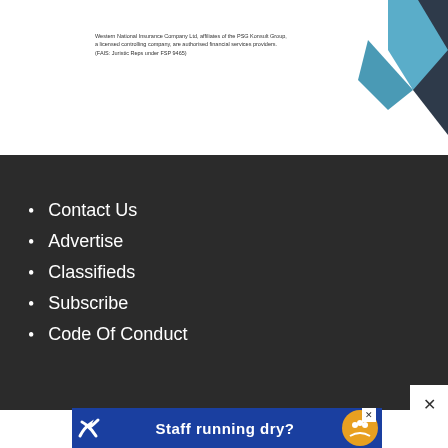Western National Insurance Company Ltd, affiliates of the PSG Konsult Group, a licensed controlling company, are authorised financial services providers. (FAIS: Juristic Reps under FSP 9465)
[Figure (illustration): Abstract geometric graphic with blue and dark navy triangular/chevron shapes in the top right corner]
Contact Us
Advertise
Classifieds
Subscribe
Code Of Conduct
[Figure (screenshot): Advertisement banner: blue background with white S-logo on left, text 'Staff running dry?' in bold white, orange people icon on right, with a close X button]